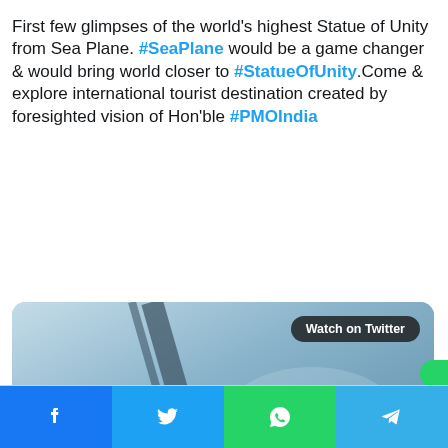First few glimpses of the world's highest Statue of Unity from Sea Plane. #SeaPlane would be a game changer & would bring world closer to #StatueOfUnity.Come & explore international tourist destination created by foresighted vision of Hon'ble #PMOIndia
[Figure (screenshot): Blurred aerial/sea plane video thumbnail with 'Watch on Twitter' badge and Twitter play button]
[Figure (other): Social share bar with Facebook, Twitter, WhatsApp, and Telegram buttons]